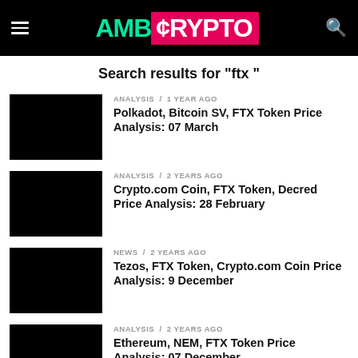AMB CRYPTO
Search results for "ftx "
ANALYSIS / 1 year ago — Polkadot, Bitcoin SV, FTX Token Price Analysis: 07 March
ANALYSIS / 2 years ago — Crypto.com Coin, FTX Token, Decred Price Analysis: 28 February
NEWS / 2 years ago — Tezos, FTX Token, Crypto.com Coin Price Analysis: 9 December
ANALYSIS / 2 years ago — Ethereum, NEM, FTX Token Price Analysis: 07 December